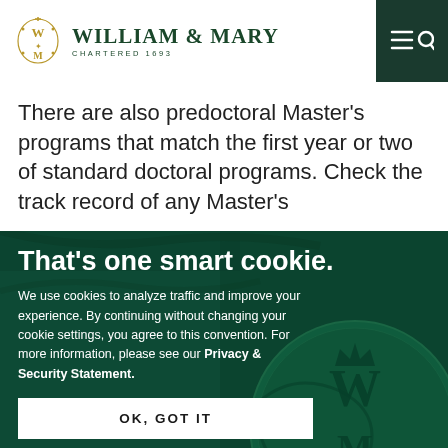[Figure (logo): William & Mary university logo with golden emblem and dark green text, 'Chartered 1693' subtitle, and menu/search icons on dark green background]
There are also predoctoral Master's programs that match the first year or two of standard doctoral programs. Check the track record of any Master's
[Figure (photo): Dark green background with a wax seal bearing the William & Mary royal cypher (intertwined W and M with crown), overlaid with cookie consent dialog text]
That's one smart cookie.
We use cookies to analyze traffic and improve your experience. By continuing without changing your cookie settings, you agree to this convention. For more information, please see our Privacy & Security Statement.
OK, GOT IT